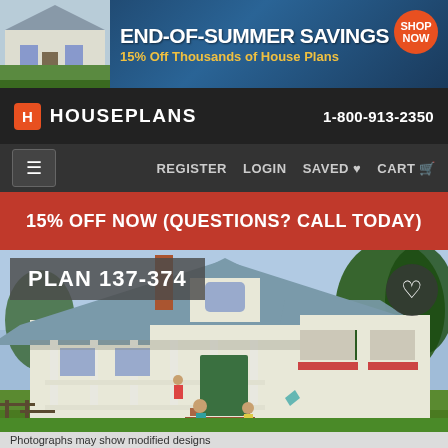[Figure (screenshot): Banner ad: END-OF-SUMMER SAVINGS 15% Off Thousands of House Plans with SHOP NOW button and house image on left]
HOUSEPLANS | 1-800-913-2350
REGISTER  LOGIN  SAVED ♥  CART
15% OFF NOW (QUESTIONS? CALL TODAY)
[Figure (illustration): Exterior illustration of Plan 137-374: a farmhouse-style home with metal roof, wrap-around porch, dormers, shutters, and flower boxes. Children playing in front yard.]
PLAN 137-374
Photographs may show modified designs